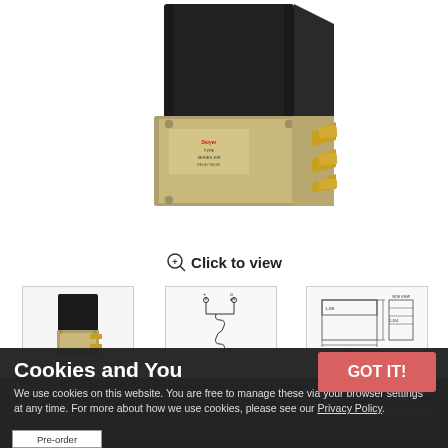[Figure (photo): Product photo of a Dwyer relay/solenoid valve — black plastic housing with metal base plate and gold-colored electrical terminals, viewed from corner angle on white background.]
⊕ Click to view
[Figure (photo): Small thumbnail photo of the same relay product from front view.]
[Figure (schematic): Wiring/circuit diagram thumbnail for the relay product.]
[Figure (engineering-diagram): Dimensional/technical drawing thumbnail for the relay product.]
Cookies and You
We use cookies on this website. You are free to manage these via your browser settings at any time. For more about how we use cookies, please see our Privacy Policy.
GOT IT!
Pre-order